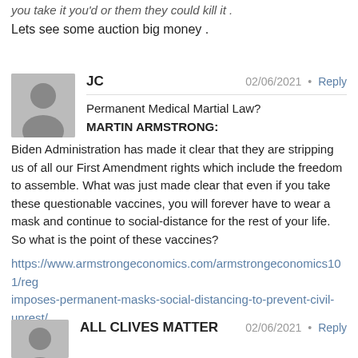you take it you'd or them they could kill it .
Lets see some auction big money .
JC  02/06/2021  •  Reply
Permanent Medical Martial Law?
MARTIN ARMSTRONG:
Biden Administration has made it clear that they are stripping us of all our First Amendment rights which include the freedom to assemble. What was just made clear that even if you take these questionable vaccines, you will forever have to wear a mask and continue to social-distance for the rest of your life. So what is the point of these vaccines?
https://www.armstrongeconomics.com/armstrongeconomics101/reg imposes-permanent-masks-social-distancing-to-prevent-civil-unrest/
ALL CLIVES MATTER  02/06/2021  •  Reply